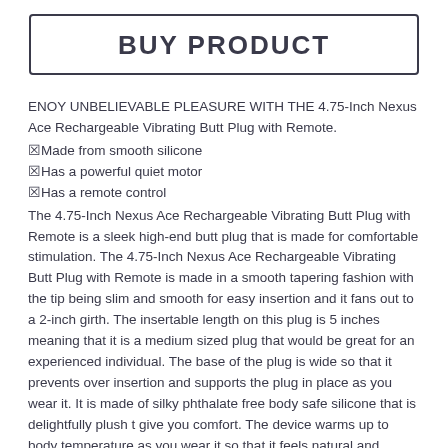BUY PRODUCT
ENOY UNBELIEVABLE PLEASURE WITH THE 4.75-Inch Nexus Ace Rechargeable Vibrating Butt Plug with Remote.
✓Made from smooth silicone
✓Has a powerful quiet motor
✓Has a remote control
The 4.75-Inch Nexus Ace Rechargeable Vibrating Butt Plug with Remote is a sleek high-end butt plug that is made for comfortable stimulation. The 4.75-Inch Nexus Ace Rechargeable Vibrating Butt Plug with Remote is made in a smooth tapering fashion with the tip being slim and smooth for easy insertion and it fans out to a 2-inch girth. The insertable length on this plug is 5 inches meaning that it is a medium sized plug that would be great for an experienced individual. The base of the plug is wide so that it prevents over insertion and supports the plug in place as you wear it. It is made of silky phthalate free body safe silicone that is delightfully plush t give you comfort. The device warms up to body temperature as you wear it so that it feels natural and comfortable in you. The shaft of this plug has ridges